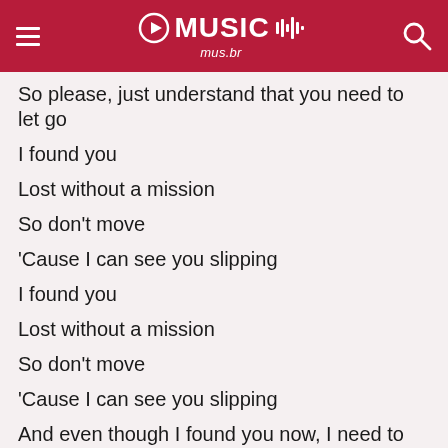GO MUSIC mus.br
So please, just understand that you need to let go
I found you
Lost without a mission
So don't move
'Cause I can see you slipping
I found you
Lost without a mission
So don't move
'Cause I can see you slipping
And even though I found you now, I need to hold you close
'Cause I see you goin' around and 'round and never get too close